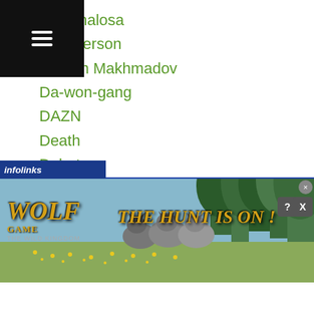ve Penalosa
ve Peterson
Davron Makhmadov
Da-won-gang
DAZN
Death
Debut
December 30th
Defry Palulu
Denis Boytsov
Denise-castle
Denis Lebedev
Denis Shafikov
Denis-shafikov
Denkaosan Kaovichit
rk Quibido
[Figure (screenshot): Wolf Game: The Wild Kingdom advertisement banner with wolves and text 'THE HUNT IS ON!' with infolinks bar overlay]